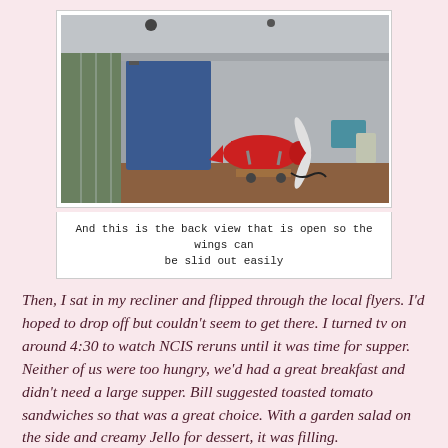[Figure (photo): Back view of a storage shed or hangar with open back wall, showing a red model airplane with white propeller on a wooden stand, and a blue tarp or cover hanging to the left. A chain-link fence and trees are visible outside on the left.]
And this is the back view that is open so the wings can be slid out easily
Then, I sat in my recliner and flipped through the local flyers. I'd hoped to drop off but couldn't seem to get there. I turned tv on around 4:30 to watch NCIS reruns until it was time for supper. Neither of us were too hungry, we'd had a great breakfast and didn't need a large supper. Bill suggested toasted tomato sandwiches so that was a great choice. With a garden salad on the side and creamy Jello for dessert, it was filling.